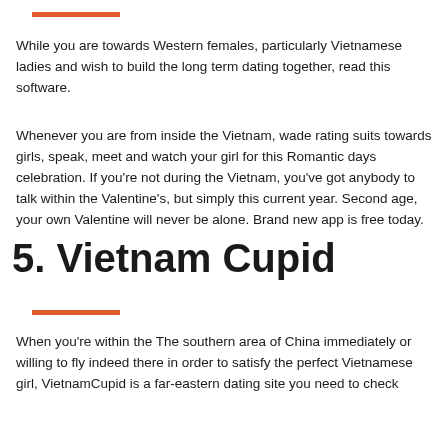While you are towards Western females, particularly Vietnamese ladies and wish to build the long term dating together, read this software.
Whenever you are from inside the Vietnam, wade rating suits towards girls, speak, meet and watch your girl for this Romantic days celebration. If you're not during the Vietnam, you've got anybody to talk within the Valentine's, but simply this current year. Second age, your own Valentine will never be alone. Brand new app is free today.
5. Vietnam Cupid
When you're within the The southern area of China immediately or willing to fly indeed there in order to satisfy the perfect Vietnamese girl, VietnamCupid is a far-eastern dating site you need to check